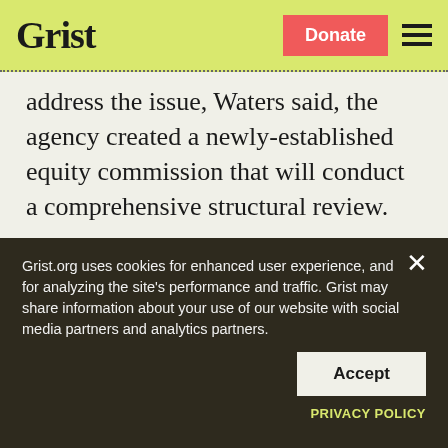Grist | Donate | ☰
address the issue, Waters said, the agency created a newly-established equity commission that will conduct a comprehensive structural review.
But last month, the Department of Justice passed on a chance to appeal one of the three injunctions. Corey Lea, executive
Grist.org uses cookies for enhanced user experience, and for analyzing the site's performance and traffic. Grist may share information about your use of our website with social media partners and analytics partners.
Accept
PRIVACY POLICY